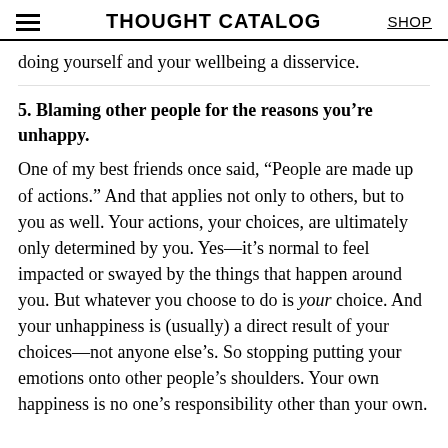THOUGHT CATALOG  SHOP
doing yourself and your wellbeing a disservice.
5. Blaming other people for the reasons you’re unhappy.
One of my best friends once said, “People are made up of actions.” And that applies not only to others, but to you as well. Your actions, your choices, are ultimately only determined by you. Yes—it’s normal to feel impacted or swayed by the things that happen around you. But whatever you choose to do is your choice. And your unhappiness is (usually) a direct result of your choices—not anyone else’s. So stopping putting your emotions onto other people’s shoulders. Your own happiness is no one’s responsibility other than your own.